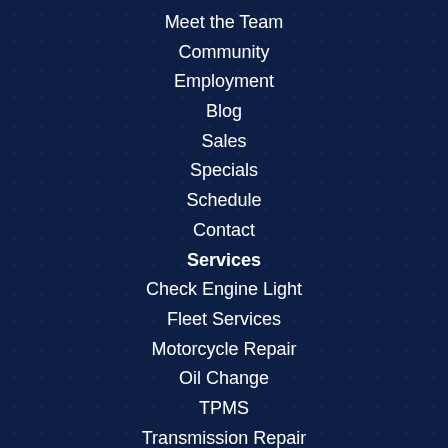Meet the Team
Community
Employment
Blog
Sales
Specials
Schedule
Contact
Services
Check Engine Light
Fleet Services
Motorcycle Repair
Oil Change
TPMS
Transmission Repair
Vehicle Systems
Wheel Alignment